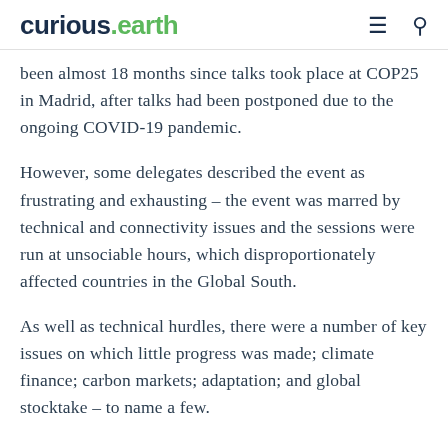curious.earth
been almost 18 months since talks took place at COP25 in Madrid, after talks had been postponed due to the ongoing COVID-19 pandemic.
However, some delegates described the event as frustrating and exhausting – the event was marred by technical and connectivity issues and the sessions were run at unsociable hours, which disproportionately affected countries in the Global South.
As well as technical hurdles, there were a number of key issues on which little progress was made; climate finance; carbon markets; adaptation; and global stocktake – to name a few.